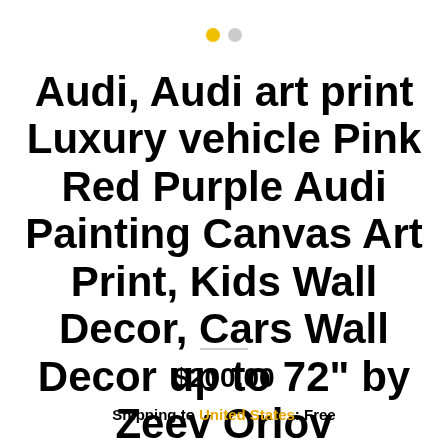[Figure (other): Two navigation dots: one filled yellow, one grey, indicating a carousel/slideshow position indicator]
Audi, Audi art print Luxury vehicle Pink Red Purple Audi Painting Canvas Art Print, Kids Wall Decor, Cars Wall Decor up to 72" by Zeev Orlov
$200.00
Shipping to United States: Free